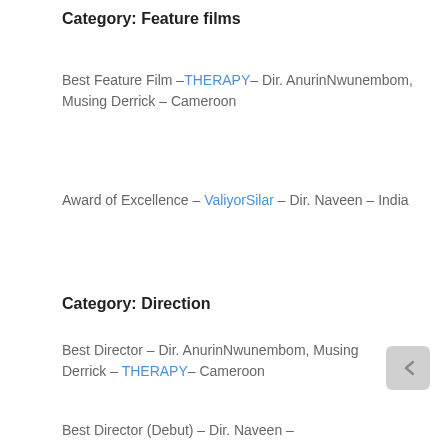Category: Feature films
Best Feature Film – THERAPY – Dir. AnurinNwunembom, Musing Derrick – Cameroon
Award of Excellence – ValiyorSilar – Dir. Naveen – India
Category: Direction
Best Director – Dir. AnurinNwunembom, Musing Derrick – THERAPY – Cameroon
Best Director (Debut) – Dir. Naveen –